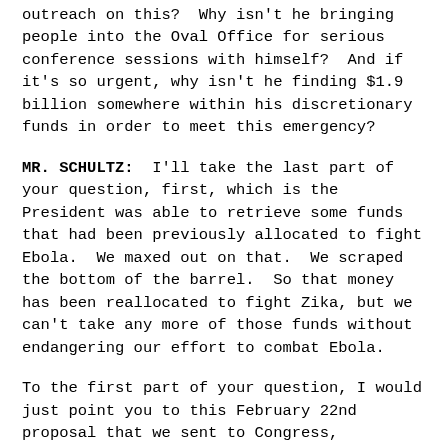outreach on this?  Why isn't he bringing people into the Oval Office for serious conference sessions with himself?  And if it's so urgent, why isn't he finding $1.9 billion somewhere within his discretionary funds in order to meet this emergency?
MR. SCHULTZ:  I'll take the last part of your question, first, which is the President was able to retrieve some funds that had been previously allocated to fight Ebola.  We maxed out on that.  We scraped the bottom of the barrel.  So that money has been reallocated to fight Zika, but we can't take any more of those funds without endangering our effort to combat Ebola.
To the first part of your question, I would just point you to this February 22nd proposal that we sent to Congress, outlining our plan.  This wasn't a haphazard package that we put together in a few minutes or a few hours.  This was a detailed proposal.  It includes guidance from the Office of Management and Budget.  It also includes guidance from our